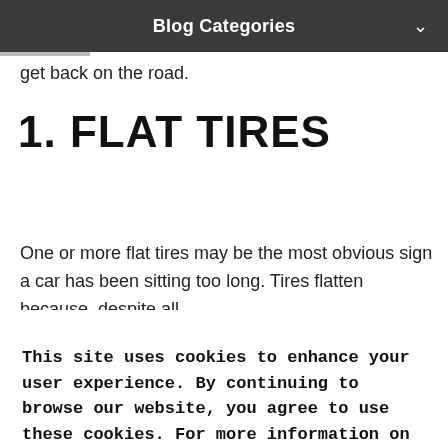Blog Categories
get back on the road.
1. FLAT TIRES
One or more flat tires may be the most obvious sign a car has been sitting too long. Tires flatten because, despite all
This site uses cookies to enhance your user experience. By continuing to browse our website, you agree to use these cookies. For more information on what cookies we use and how to manage these cookies please visit our Privacy policy
OK